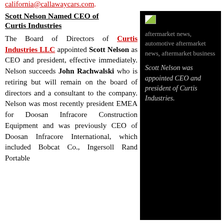california@callawaycars.com.
Scott Nelson Named CEO of Curtis Industries
The Board of Directors of Curtis Industries LLC appointed Scott Nelson as CEO and president, effective immediately. Nelson succeeds John Rachwalski who is retiring but will remain on the board of directors and a consultant to the company. Nelson was most recently president EMEA for Doosan Infracore Construction Equipment and was previously CEO of Doosan Infracore International, which included Bobcat Co., Ingersoll Rand Portable
[Figure (photo): Black background panel with small placeholder image icon, tag labels reading 'aftermarket news, automotive aftermarket news, aftermarket business', and italic white caption text: 'Scott Nelson was appointed CEO and president of Curtis Industries.']
Scott Nelson was appointed CEO and president of Curtis Industries.